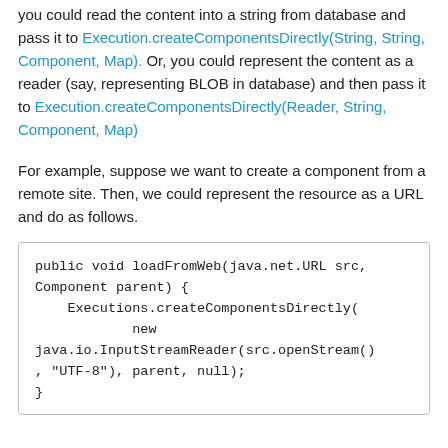you could read the content into a string from database and pass it to Execution.createComponentsDirectly(String, String, Component, Map). Or, you could represent the content as a reader (say, representing BLOB in database) and then pass it to Execution.createComponentsDirectly(Reader, String, Component, Map)
For example, suppose we want to create a component from a remote site. Then, we could represent the resource as a URL and do as follows.